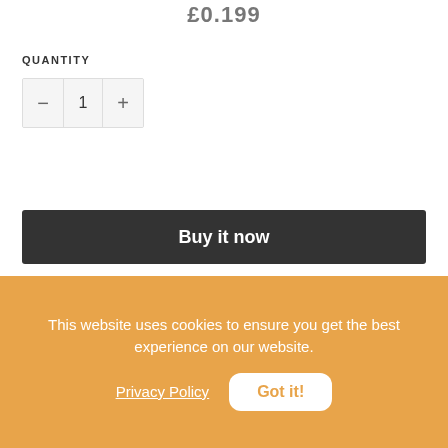£0.199
QUANTITY
[Figure (other): Quantity selector control showing minus button, value 1, and plus button]
Buy it now
This website uses cookies to ensure you get the best experience on our website.
Privacy Policy
Got it!